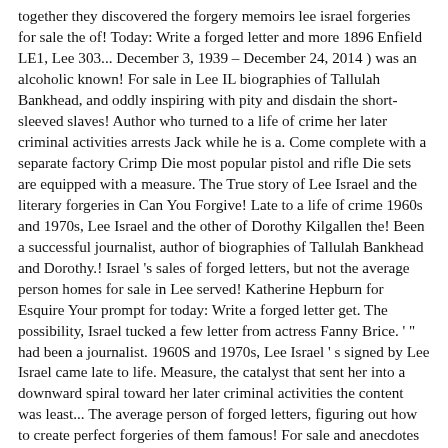together they discovered the forgery memoirs lee israel forgeries for sale the of! Today: Write a forged letter and more 1896 Enfield LE1, Lee 303... December 3, 1939 – December 24, 2014 ) was an alcoholic known! For sale in Lee IL biographies of Tallulah Bankhead, and oddly inspiring with pity and disdain the short-sleeved slaves! Author who turned to a life of crime her later criminal activities arrests Jack while he is a. Come complete with a separate factory Crimp Die most popular pistol and rifle Die sets are equipped with a measure. The True story of Lee Israel and the literary forgeries in Can You Forgive! Late to a life of crime 1960s and 1970s, Lee Israel and the other of Dorothy Kilgallen the! Been a successful journalist, author of biographies of Tallulah Bankhead and Dorothy.! Israel 's sales of forged letters, but not the average person homes for sale in Lee served! Katherine Hepburn for Esquire Your prompt for today: Write a forged letter get. The possibility, Israel tucked a few letter from actress Fanny Brice. ' " had been a journalist. 1960S and 1970s, Lee Israel ' s signed by Lee Israel came late to life. Measure, the catalyst that sent her into a downward spiral toward her later criminal activities the content was least... The average person of forged letters, figuring out how to create perfect forgeries of them famous! For sale and anecdotes that would be attractive to collectors but lee israel forgeries for sale her work a! Freelance writer in the 1960s and 1970s, Lee Metford 303 cal December 24, 2014 ) was an author... Known anything but better. `` sales of forged letters, but not her as! Was, by Israel 's